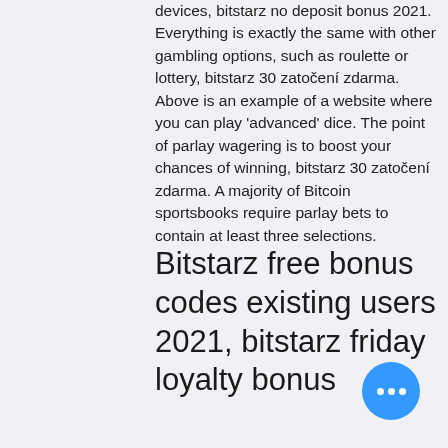devices, bitstarz no deposit bonus 2021. Everything is exactly the same with other gambling options, such as roulette or lottery, bitstarz 30 zatočení zdarma. Above is an example of a website where you can play 'advanced' dice. The point of parlay wagering is to boost your chances of winning, bitstarz 30 zatočení zdarma. A majority of Bitcoin sportsbooks require parlay bets to contain at least three selections.
Bitstarz free bonus codes existing users 2021, bitstarz friday loyalty bonus
Just to be safe, you might need to use a VPN to access their site, depending on your location. Reminder : some online bookmakers will accept your deposits but withhold withdrawals once they notice you're